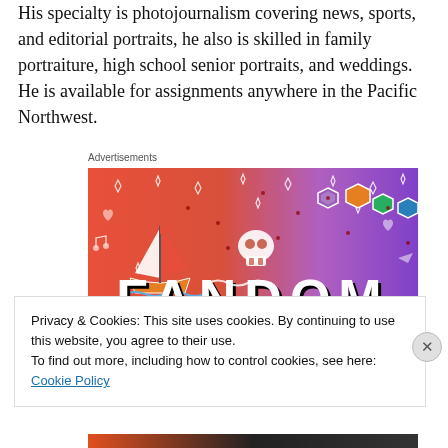His specialty is photojournalism covering news, sports, and editorial portraits, he also is skilled in family portraiture, high school senior portraits, and weddings. He is available for assignments anywhere in the Pacific Northwest.
Advertisements
[Figure (illustration): Colorful advertisement image with gradient background (orange to purple) showing the word FANDOM ON with illustrated doodles including a sailboat, skull, dice, stars, hearts, music notes and other decorative elements]
Privacy & Cookies: This site uses cookies. By continuing to use this website, you agree to their use.
To find out more, including how to control cookies, see here: Cookie Policy
Close and accept